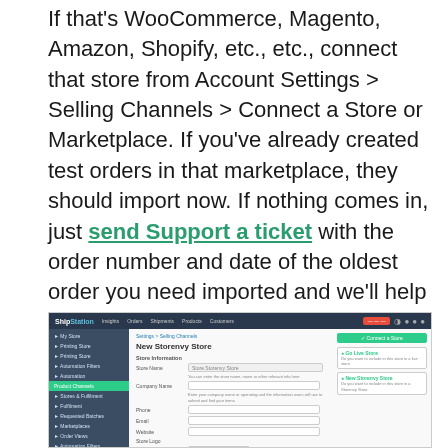If that's WooCommerce, Magento, Amazon, Shopify, etc., etc., connect that store from Account Settings > Selling Channels > Connect a Store or Marketplace. If you've already created test orders in that marketplace, they should import now. If nothing comes in, just send Support a ticket with the order number and date of the oldest order you need imported and we'll help you out.
[Figure (screenshot): ShipStation application screenshot showing the 'New Storenvy Store' setup page with sidebar navigation, store information form fields (Store Name, Company Name, Phone, Email, Website, Store Logo), and a right panel with Connect a Store button and options.]